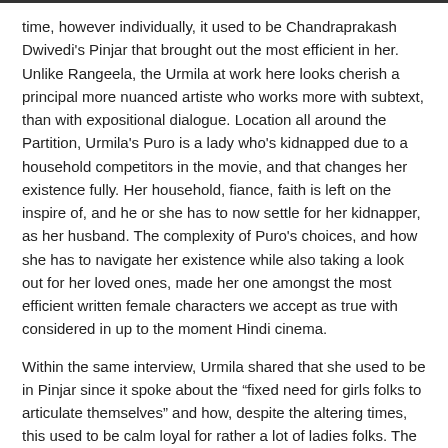time, however individually, it used to be Chandraprakash Dwivedi's Pinjar that brought out the most efficient in her. Unlike Rangeela, the Urmila at work here looks cherish a principal more nuanced artiste who works more with subtext, than with expositional dialogue. Location all around the Partition, Urmila's Puro is a lady who's kidnapped due to a household competitors in the movie, and that changes her existence fully. Her household, fiance, faith is left on the inspire of, and he or she has to now settle for her kidnapper, as her husband. The complexity of Puro's choices, and how she has to navigate her existence while also taking a look out for her loved ones, made her one amongst the most efficient written female characters we accept as true with considered in up to the moment Hindi cinema.
Within the same interview, Urmila shared that she used to be in Pinjar since it spoke about the "fixed need for girls folks to articulate themselves" and how, despite the altering times, this used to be calm loyal for rather a lot of ladies folks. The assertion is appropriate to Urmila's occupation in addition. She played a hauntingly